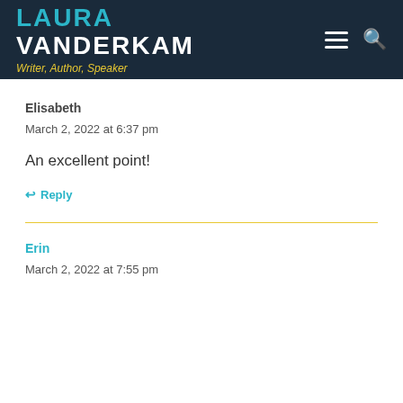LAURA VANDERKAM — Writer, Author, Speaker
Elisabeth
March 2, 2022 at 6:37 pm
An excellent point!
↩ Reply
Erin
March 2, 2022 at 7:55 pm